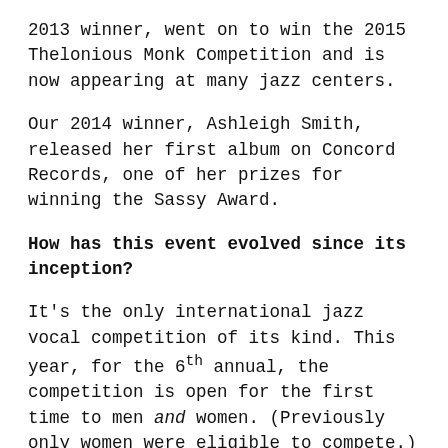2013 winner, went on to win the 2015 Thelonious Monk Competition and is now appearing at many jazz centers.
Our 2014 winner, Ashleigh Smith, released her first album on Concord Records, one of her prizes for winning the Sassy Award.
How has this event evolved since its inception?
It's the only international jazz vocal competition of its kind. This year, for the 6th annual, the competition is open for the first time to men and women. (Previously only women were eligible to compete.) Bassist Christian McBride, our Jazz Advisor and a former judge for the competition, predicts this will be a game-changer and generate